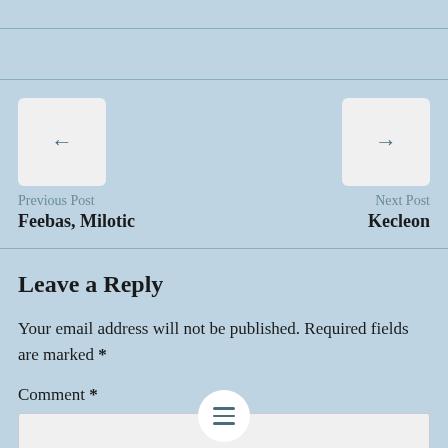← Previous Post
Feebas, Milotic
→ Next Post
Kecleon
Leave a Reply
Your email address will not be published. Required fields are marked *
Comment *